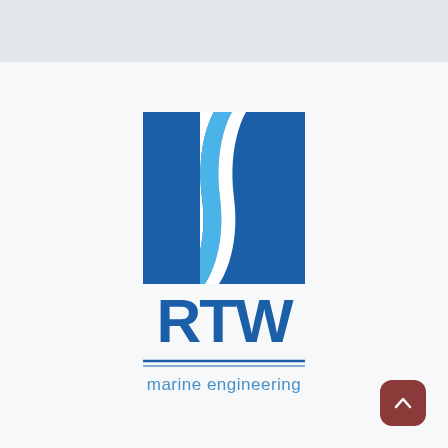[Figure (logo): RTW Marine Engineering logo: a dark blue square with white and light blue wave/ribbon shapes, with 'RTW' in large bold dark blue letters below, a horizontal double line, and 'marine engineering' in smaller blue text beneath.]